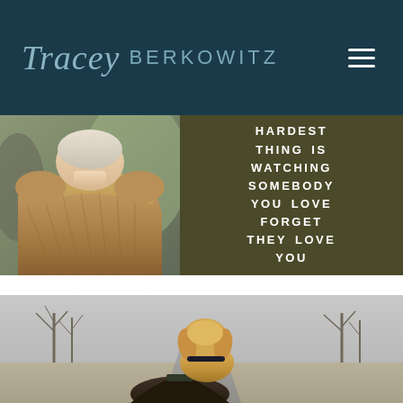Tracey BERKOWITZ
[Figure (infographic): Split image: left side shows an elderly person from behind wearing a knit sweater, right side shows dark olive/army green background with white bold uppercase text reading: HARDEST THING IS WATCHING SOMEBODY YOU LOVE FORGET THEY LOVE YOU]
[Figure (photo): Photo of a golden retriever dog viewed from behind, sitting next to a person with dark hair, overlooking a road or path with bare winter trees in the background]